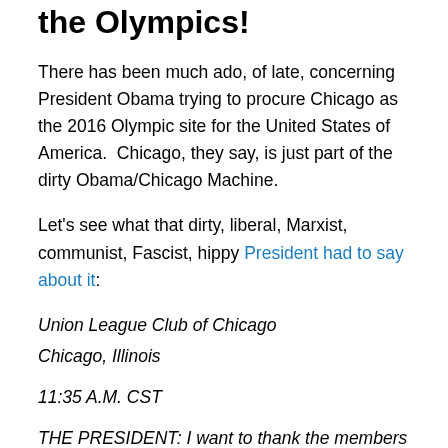the Olympics!
There has been much ado, of late, concerning President Obama trying to procure Chicago as the 2016 Olympic site for the United States of America.  Chicago, they say, is just part of the dirty Obama/Chicago Machine.
Let's see what that dirty, liberal, Marxist, communist, Fascist, hippy President had to say about it:
Union League Club of Chicago
Chicago, Illinois
11:35 A.M. CST
THE PRESIDENT: I want to thank the members of the 2016 Chicago bid to get the Olympics. Listen, Mr. Mayor, you and your committee have put together a great plan